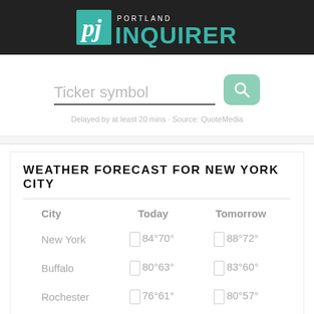Portland Inquirer
Ticker symbol
Delayed by at least 20 mins · Source: QuoteMedia
WEATHER FORECAST FOR NEW YORK CITY
| City | Today | Tomorrow |
| --- | --- | --- |
| New York | 84°70° | 88°72° |
| Buffalo | 80°63° | 83°60° |
| Rochester | 76°61° | 80°57° |